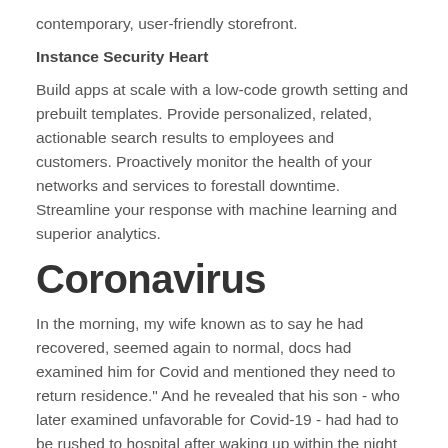contemporary, user-friendly storefront.
Instance Security Heart
Build apps at scale with a low-code growth setting and prebuilt templates. Provide personalized, related, actionable search results to employees and customers. Proactively monitor the health of your networks and services to forestall downtime. Streamline your response with machine learning and superior analytics.
Coronavirus
In the morning, my wife known as to say he had recovered, seemed again to normal, docs had examined him for Covid and mentioned they need to return residence." And he revealed that his son - who later examined unfavorable for Covid-19 - had had to be rushed to hospital after waking up within the night time with a number of signs. Recounting the reasons for his journey, the Number 10 aide said he had acquired a